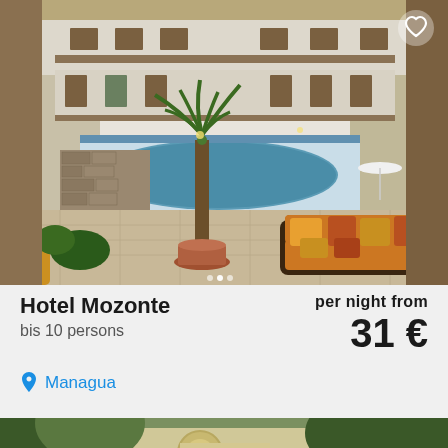[Figure (photo): Hotel Mozonte interior courtyard with pool, wicker furniture with orange cushions, palm tree, and multi-story white building with balconies]
Hotel Mozonte
bis 10 persons
per night from 31 €
Managua
[Figure (photo): Exterior view of a building surrounded by green trees and foliage]